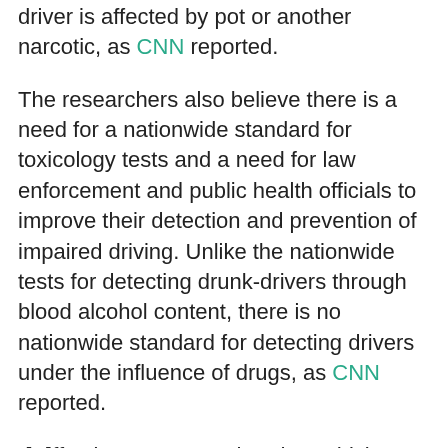driver is affected by pot or another narcotic, as CNN reported.
The researchers also believe there is a need for a nationwide standard for toxicology tests and a need for law enforcement and public health officials to improve their detection and prevention of impaired driving. Unlike the nationwide tests for detecting drunk-drivers through blood alcohol content, there is no nationwide standard for detecting drivers under the influence of drugs, as CNN reported.
“[E]ffective measures that deter driving under the influence of drugs are limited,” researchers said, according to U.S. News and World Report.
“Any person who uses cannabis should not be operating a motor vehicle. Period,” said Robert